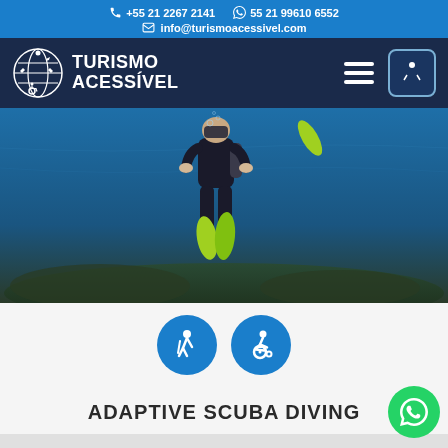+55 21 2267 2141   55 21 99610 6552   info@turismoacessivel.com
[Figure (logo): Turismo Acessível logo with globe and accessibility icons, white text on dark navy background, hamburger menu and accessibility button]
[Figure (photo): Scuba diver underwater wearing black wetsuit with green fins, swimming above coral reef in blue water]
[Figure (infographic): Two blue circular icons: one showing a person walking with a cane (accessibility walking), one showing a wheelchair user (disability accessible)]
ADAPTIVE SCUBA DIVING